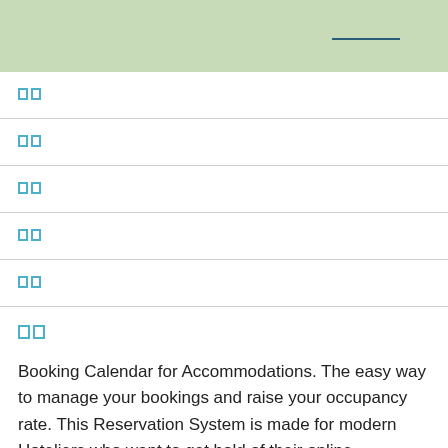[]
[]
[]
[]
[]
[]
Booking Calendar for Accommodations. The easy way to manage your bookings and raise your occupancy rate. This Reservation System is made for modern Hoteliers who want to get hold of their online reservations.